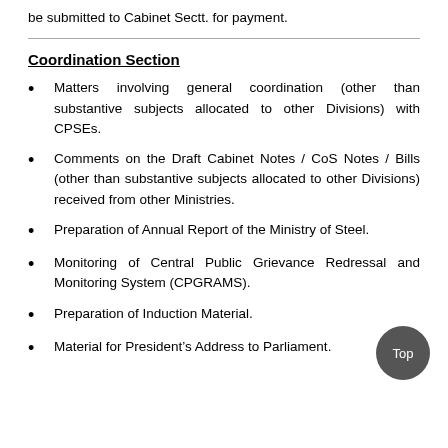be submitted to Cabinet Sectt. for payment.
Coordination Section
Matters involving general coordination (other than substantive subjects allocated to other Divisions) with CPSEs.
Comments on the Draft Cabinet Notes / CoS Notes / Bills (other than substantive subjects allocated to other Divisions) received from other Ministries.
Preparation of Annual Report of the Ministry of Steel.
Monitoring of Central Public Grievance Redressal and Monitoring System (CPGRAMS).
Preparation of Induction Material.
Material for President's Address to Parliament.